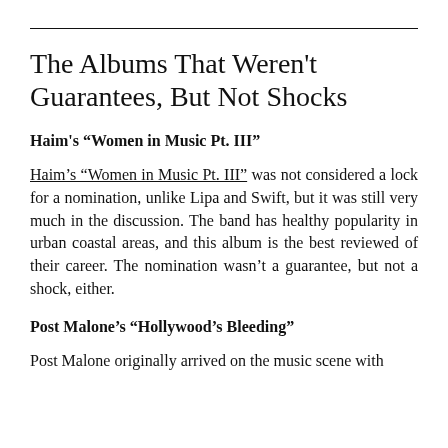The Albums That Weren't Guarantees, But Not Shocks
Haim's “Women in Music Pt. III”
Haim’s “Women in Music Pt. III” was not considered a lock for a nomination, unlike Lipa and Swift, but it was still very much in the discussion. The band has healthy popularity in urban coastal areas, and this album is the best reviewed of their career. The nomination wasn’t a guarantee, but not a shock, either.
Post Malone’s “Hollywood’s Bleeding”
Post Malone originally arrived on the music scene with